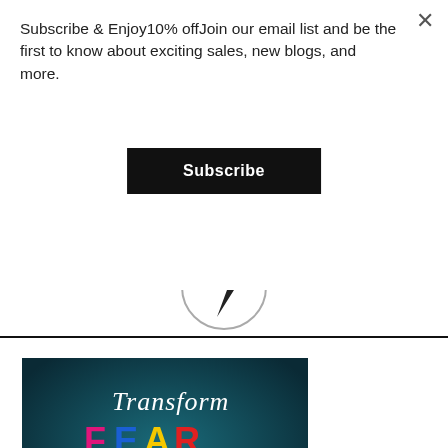Subscribe & Enjoy10% offJoin our email list and be the first to know about exciting sales, new blogs, and more.
[Figure (other): Black Subscribe button]
[Figure (other): Circular logo/icon partially visible with a lightning bolt or arrow shape inside]
[Figure (photo): Chalkboard image with text 'Transform FEAR into Action' where FEAR letters are in colorful 3D letters (F=pink, E=blue, A=yellow, R=red) and the rest is handwritten chalk text on dark teal background]